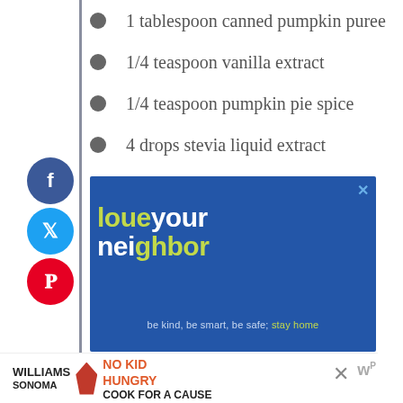1 tablespoon canned pumpkin puree
1/4 teaspoon vanilla extract
1/4 teaspoon pumpkin pie spice
4 drops stevia liquid extract
[Figure (infographic): Blue advertisement banner with 'love your neighbor' text in white and yellow-green, subtitle: 'be kind, be smart, be safe; stay home']
[Figure (infographic): Williams Sonoma No Kid Hungry Cook for a Cause advertisement banner at bottom of page]